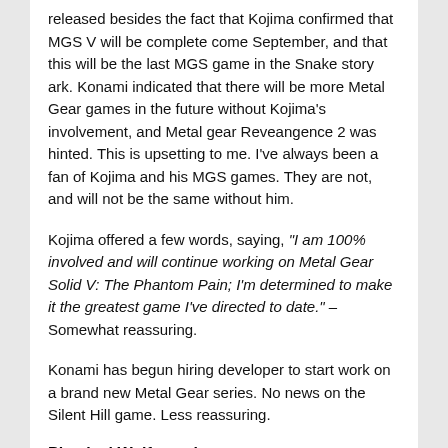released besides the fact that Kojima confirmed that MGS V will be complete come September, and that this will be the last MGS game in the Snake story ark. Konami indicated that there will be more Metal Gear games in the future without Kojima's involvement, and Metal gear Reveangence 2 was hinted. This is upsetting to me. I've always been a fan of Kojima and his MGS games. They are not, and will not be the same without him.
Kojima offered a few words, saying, "I am 100% involved and will continue working on Metal Gear Solid V: The Phantom Pain; I'm determined to make it the greatest game I've directed to date." – Somewhat reassuring.
Konami has begun hiring developer to start work on a brand new Metal Gear series. No news on the Silent Hill game. Less reassuring.
Physical Wolfenstein
Back on March 4th, it was announced that a digital stand-